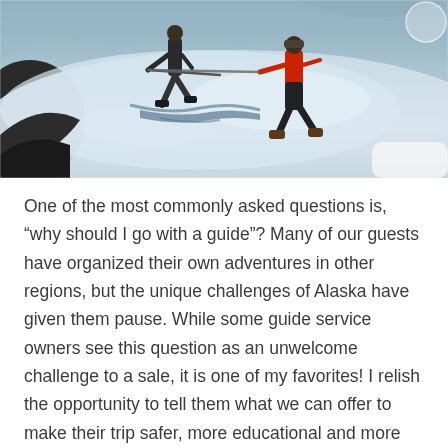[Figure (photo): Two people on a glacier or icy terrain. One person in dark clothing (left) and one in a red jacket (right) appear to be using ice axes or trekking poles, possibly helping each other across a crevasse or icy section. Rocky, snow-covered landscape in the background.]
One of the most commonly asked questions is, “why should I go with a guide”? Many of our guests have organized their own adventures in other regions, but the unique challenges of Alaska have given them pause. While some guide service owners see this question as an unwelcome challenge to a sale, it is one of my favorites! I relish the opportunity to tell them what we can offer to make their trip safer, more educational and more fun.